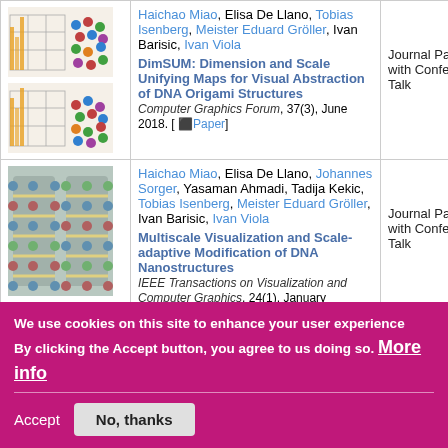| Image | Publication Info | Type |
| --- | --- | --- |
| [thumbnail: DNA origami grid structure] | Haichao Miao, Elisa De Llano, Tobias Isenberg, Meister Eduard Gröller, Ivan Barisic, Ivan Viola
DimSUM: Dimension and Scale Unifying Maps for Visual Abstraction of DNA Origami Structures
Computer Graphics Forum, 37(3), June 2018. [ ::Paper] | Journal Paper with Conference Talk |
| [thumbnail: DNA nanostructure chain] | Haichao Miao, Elisa De Llano, Johannes Sorger, Yasaman Ahmadi, Tadija Kekic, Tobias Isenberg, Meister Eduard Gröller, Ivan Barisic, Ivan Viola
Multiscale Visualization and Scale-adaptive Modification of DNA Nanostructures
IEEE Transactions on Visualization and Computer Graphics, 24(1), January | Journal Paper with Conference Talk |
We use cookies on this site to enhance your user experience
By clicking the Accept button, you agree to us doing so. More info
Accept | No, thanks